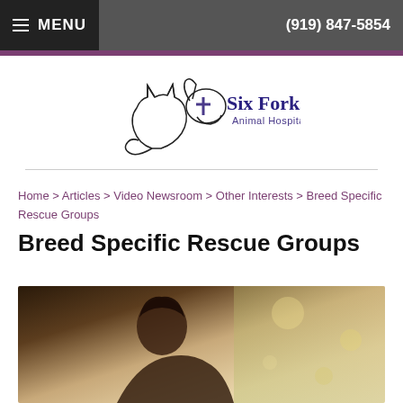MENU  (919) 847-5854
[Figure (logo): Six Forks Animal Hospital logo with cat and dog silhouette outline and veterinary cross symbol]
Home > Articles > Video Newsroom > Other Interests > Breed Specific Rescue Groups
Breed Specific Rescue Groups
[Figure (photo): Photo of a person with a dog outdoors in soft light]